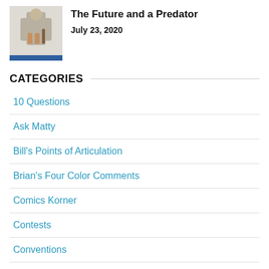[Figure (photo): Thumbnail image of a person in a grey outfit holding items, with a blue underline bar at the bottom]
The Future and a Predator
July 23, 2020
CATEGORIES
10 Questions
Ask Matty
Bill's Points of Articulation
Brian's Four Color Comments
Comics Korner
Contests
Conventions
Custom Korner